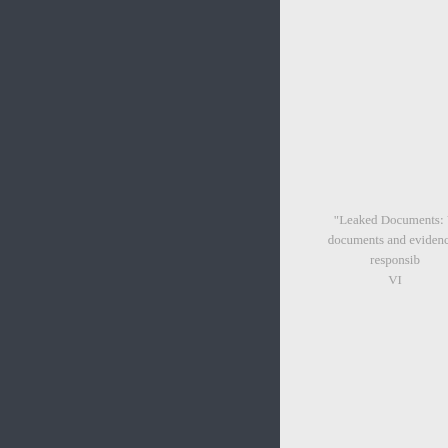[Figure (other): Dark slate-colored left panel covering approximately 62% of the page width]
"Leaked Documents: U... documents and evidence t... responsib... VI...